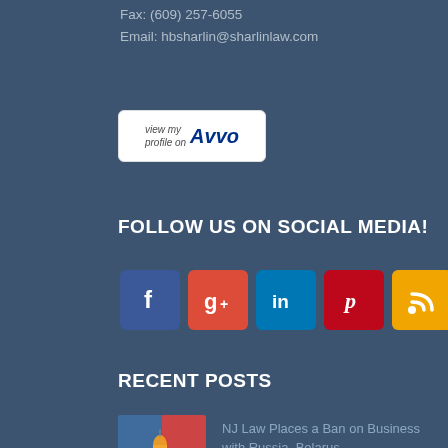Fax: (609) 257-6055
Email: hbsharlin@sharlinlaw.com
[Figure (logo): Avvo profile button - white rounded rectangle with 'view my profile on Avvo' text and Avvo logo in dark blue italic font]
FOLLOW US ON SOCIAL MEDIA!
[Figure (infographic): Row of 5 social media icons: Facebook (blue), Google+ (red), LinkedIn (teal), Pinterest (red), RSS (orange/yellow)]
RECENT POSTS
[Figure (photo): Thumbnail photo showing a candle with Ukrainian/Russian flag colors]
NJ Law Places a Ban on Business with Russia, Belarus
[Figure (photo): Thumbnail photo showing marijuana-related items with a sticky note reading 'Marijuana law']
Marijuana Provisions for NJ Employers